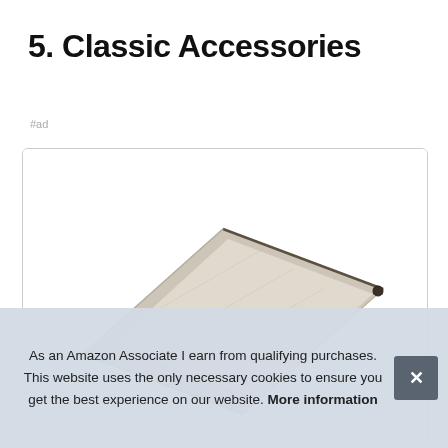5. Classic Accessories
#ad
[Figure (photo): Product photo of a laptop sleeve/case in beige/cream color, viewed from an angle showing the top and zipper detail.]
As an Amazon Associate I earn from qualifying purchases. This website uses the only necessary cookies to ensure you get the best experience on our website. More information